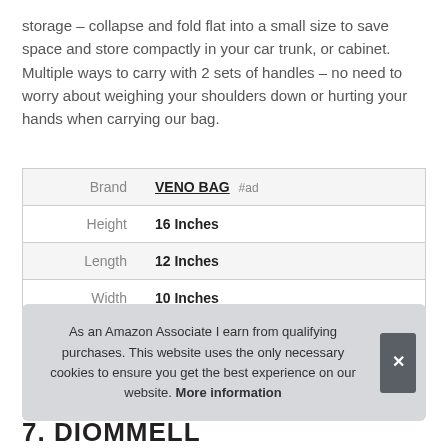storage – collapse and fold flat into a small size to save space and store compactly in your car trunk, or cabinet. Multiple ways to carry with 2 sets of handles – no need to worry about weighing your shoulders down or hurting your hands when carrying our bag.
| Brand | VENO BAG #ad |
| Height | 16 Inches |
| Length | 12 Inches |
| Width | 10 Inches |
As an Amazon Associate I earn from qualifying purchases. This website uses the only necessary cookies to ensure you get the best experience on our website. More information
7. DIOMMELL